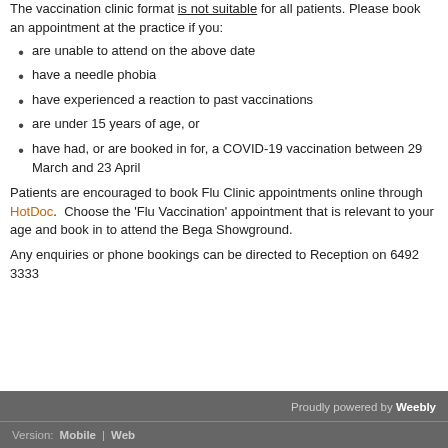The vaccination clinic format is not suitable for all patients. Please book an appointment at the practice if you:
are unable to attend on the above date
have a needle phobia
have experienced a reaction to past vaccinations
are under 15 years of age, or
have had, or are booked in for, a COVID-19 vaccination between 29 March and 23 April
Patients are encouraged to book Flu Clinic appointments online through HotDoc.  Choose the ‘Flu Vaccination’ appointment that is relevant to your age and book in to attend the Bega Showground.
Any enquiries or phone bookings can be directed to Reception on 6492 3333
Proudly powered by Weebly | Version: Mobile | Web